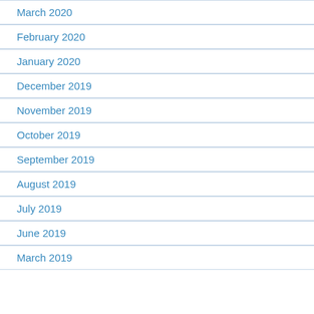March 2020
February 2020
January 2020
December 2019
November 2019
October 2019
September 2019
August 2019
July 2019
June 2019
March 2019